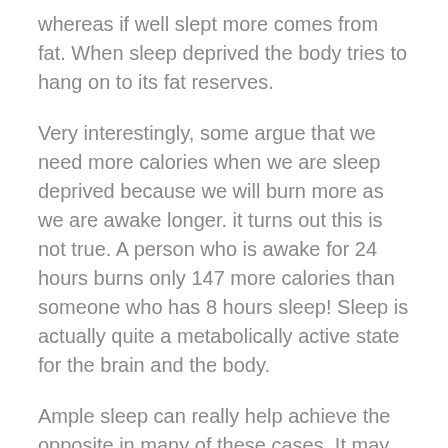whereas if well slept more comes from fat. When sleep deprived the body tries to hang on to its fat reserves.
Very interestingly, some argue that we need more calories when we are sleep deprived because we will burn more as we are awake longer. it turns out this is not true. A person who is awake for 24 hours burns only 147 more calories than someone who has 8 hours sleep! Sleep is actually quite a metabolically active state for the brain and the body.
Ample sleep can really help achieve the opposite in many of these cases. It may also affect your microbiome, again through less activation of the sympathetic nervous system which cultivated different bacteria in our guts compared to when less cortisol is present.
Sleep seems essential for a good immune system